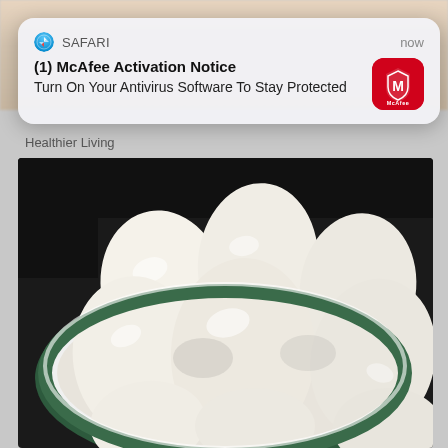[Figure (screenshot): Safari browser notification overlay showing McAfee Activation Notice: 'Turn On Your Antivirus Software To Stay Protected', with McAfee red icon on right, timestamp 'now', displayed over a webpage showing hard-boiled eggs in a bowl with 'Healthier Living' caption]
Healthier Living
[Figure (photo): Close-up photo of multiple peeled hard-boiled eggs in a white bowl with a dark green rim, viewed from above]